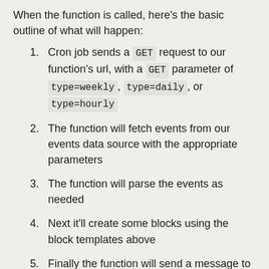When the function is called, here's the basic outline of what will happen:
Cron job sends a GET request to our function's url, with a GET parameter of type=weekly, type=daily, or type=hourly
The function will fetch events from our events data source with the appropriate parameters
The function will parse the events as needed
Next it'll create some blocks using the block templates above
Finally the function will send a message to Slack using the Slack Web API Client
Since every event API is going to look a little